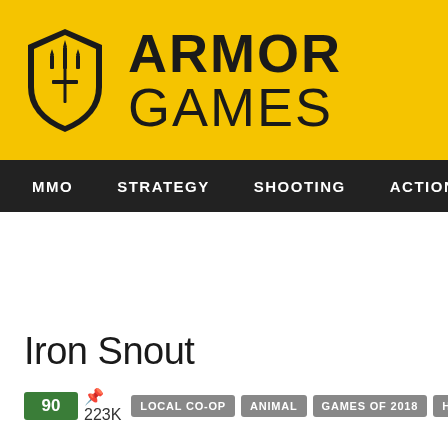[Figure (logo): Armor Games logo with yellow banner, shield icon, and ARMOR GAMES text]
MMO  STRATEGY  SHOOTING  ACTION  ADVENTURE  P
Iron Snout
90  223K  LOCAL CO-OP  ANIMAL  GAMES OF 2018  HTML  FIGHTING